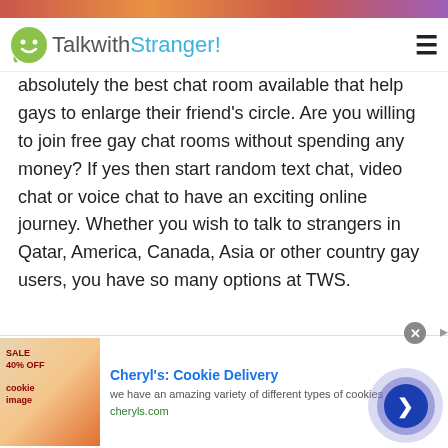TalkwithStranger!
absolutely the best chat room available that help gays to enlarge their friend's circle. Are you willing to join free gay chat rooms without spending any money? If yes then start random text chat, video chat or voice chat to have an exciting online journey. Whether you wish to talk to strangers in Qatar, America, Canada, Asia or other country gay users, you have so many options at TWS.
Exciting chat room features to avail at Talkwithstranger app
[Figure (screenshot): Advertisement banner for Cheryl's Cookie Delivery with cookie image, title, description and cheryls.com URL]